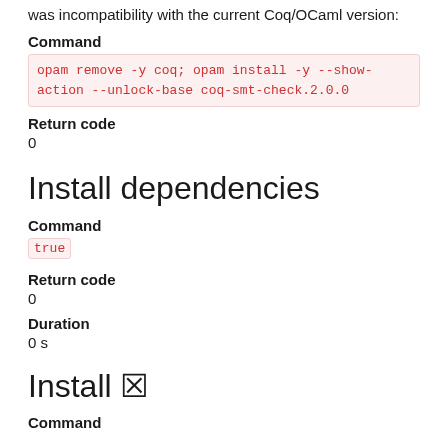was incompatibility with the current Coq/OCaml version:
Command
opam remove -y coq; opam install -y --show-action --unlock-base coq-smt-check.2.0.0
Return code
0
Install dependencies
Command
true
Return code
0
Duration
0 s
Install ✗
Command